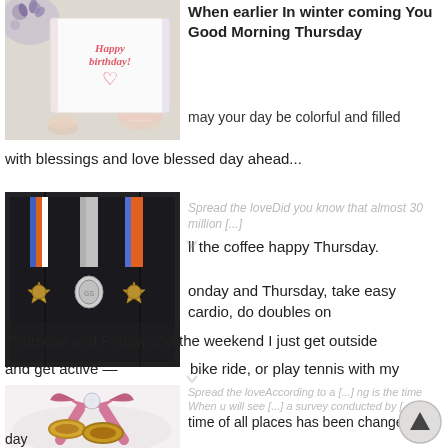[Figure (photo): Happy Birthday card with heart, surrounded by purple flowers and pastel macarons on white background]
When earlier In winter coming You Good Morning Thursday
may your day be colorful and filled with blessings and love blessed day ahead...
[Figure (photo): Three military medals with colorful ribbons hanging in a dark display frame]
Spread the loveDid you know that almost 30 million [...] ll the coffee happy Thursday.
onday and Thursday, take easy cardio, do doubles on Thursday and Friday, and the weekend I just get outside and get active — a bike ride, or play tennis with my
[Figure (photo): Two gold wedding rings on a white fluffy surface with pink satin bow and diamond heart brooch decoration]
Spread the loveAccording to a [...] ng is the time When u will see [...] a survey conducted by [...] time of all places has been changed [...] day